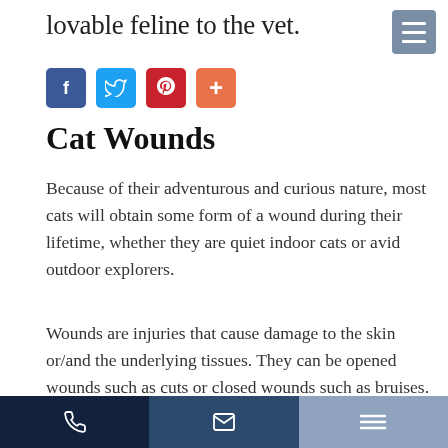lovable feline to the vet.
[Figure (other): Hamburger menu button (gray-blue)]
[Figure (other): Social sharing icons: Facebook (blue), Twitter (blue), Pinterest (red), Plus (orange)]
Cat Wounds
Because of their adventurous and curious nature, most cats will obtain some form of a wound during their lifetime, whether they are quiet indoor cats or avid outdoor explorers.
Wounds are injuries that cause damage to the skin or/and the underlying tissues. They can be opened wounds such as cuts or closed wounds such as bruises.
Cats can be injured for a variety of reasons, including fighting with another cat, stepping on a sharp object, biting, or getting something stuck in their paw. Minor
[Figure (other): Accessibility icon button (dark background with wheelchair symbol)]
Phone | Email | Menu